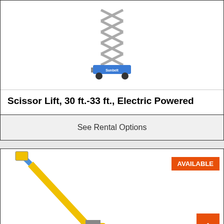[Figure (photo): Scissor lift extended vertically, blue base, silver scissor mechanism]
Scissor Lift, 30 ft.-33 ft., Electric Powered
See Rental Options
[Figure (photo): Boom lift / articulating lift on yellow and blue body extended diagonally with operator basket at top. AVAILABLE badge shown.]